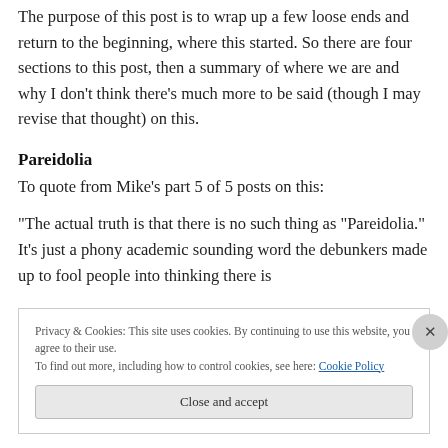The purpose of this post is to wrap up a few loose ends and return to the beginning, where this started. So there are four sections to this post, then a summary of where we are and why I don't think there's much more to be said (though I may revise that thought) on this.
Pareidolia
To quote from Mike's part 5 of 5 posts on this:
“The actual truth is that there is no such thing as “Pareidolia.” It’s just a phony academic sounding word the debunkers made up to fool people into thinking there is
Privacy & Cookies: This site uses cookies. By continuing to use this website, you agree to their use.
To find out more, including how to control cookies, see here: Cookie Policy
Close and accept